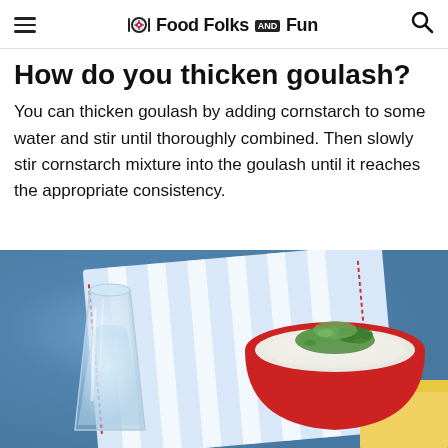Food Folks AND Fun
How do you thicken goulash?
You can thicken goulash by adding cornstarch to some water and stir until thoroughly combined. Then slowly stir cornstarch mixture into the goulash until it reaches the appropriate consistency.
[Figure (photo): A glass of water and a red bowl filled with a creamy white sauce garnished with fresh green herbs, placed on a blue and white striped cloth.]